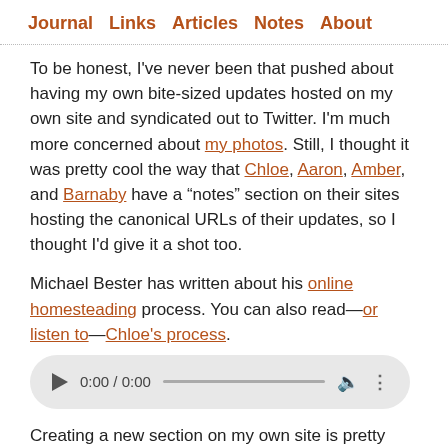Journal  Links  Articles  Notes  About
To be honest, I've never been that pushed about having my own bite-sized updates hosted on my own site and syndicated out to Twitter. I'm much more concerned about my photos. Still, I thought it was pretty cool the way that Chloe, Aaron, Amber, and Barnaby have a “notes” section on their sites hosting the canonical URLs of their updates, so I thought I'd give it a shot too.
Michael Bester has written about his online homesteading process. You can also read—or listen to—Chloe's process.
[Figure (other): Audio player widget showing 0:00 / 0:00 with play button, progress bar, volume icon, and more options icon]
Creating a new section on my own site is pretty straightforward. My home-rolled CMS is really creaky and ropey but it gets the job done. The notes section is just